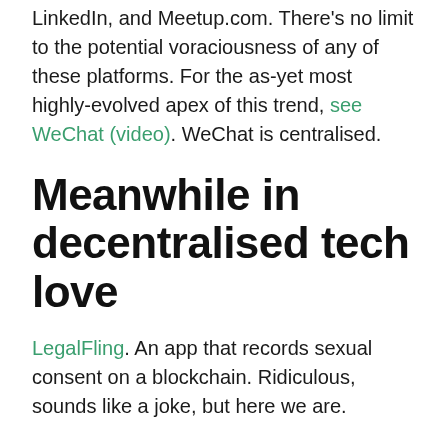LinkedIn, and Meetup.com. There's no limit to the potential voraciousness of any of these platforms. For the as-yet most highly-evolved apex of this trend, see WeChat (video). WeChat is centralised.
Meanwhile in decentralised tech love
LegalFling. An app that records sexual consent on a blockchain. Ridiculous, sounds like a joke, but here we are.
Luna. A blockchain-based dating app. Seems more convoluted and centralised than the scheme I've outlined, but doesn't seem completely stupid. Maybe it'll work.